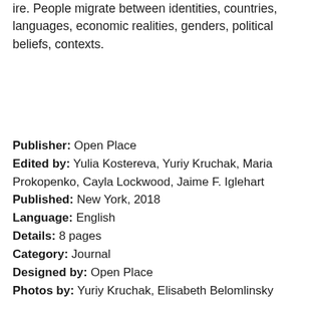ire. People migrate between identities, countries, languages, economic realities, genders, political beliefs, contexts.
Publisher: Open Place
Edited by: Yulia Kostereva, Yuriy Kruchak, Maria Prokopenko, Cayla Lockwood, Jaime F. Iglehart
Published: New York, 2018
Language: English
Details: 8 pages
Category: Journal
Designed by: Open Place
Photos by: Yuriy Kruchak, Elisabeth Belomlinsky